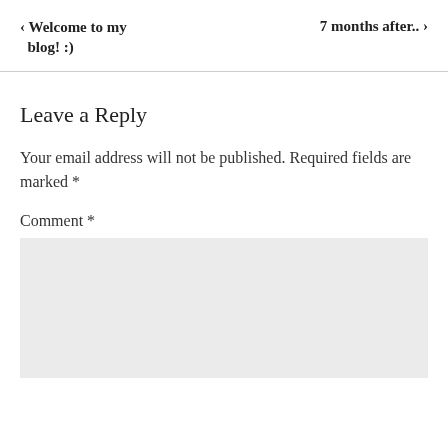‹ Welcome to my blog! :)    7 months after.. ›
Leave a Reply
Your email address will not be published. Required fields are marked *
Comment *